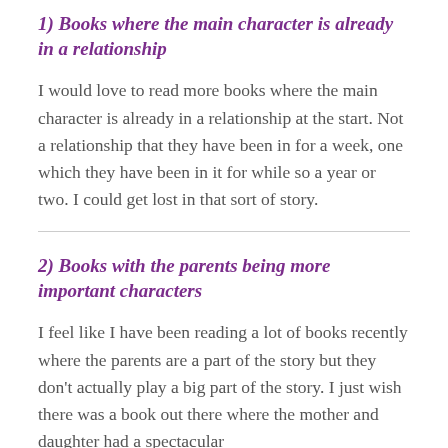1) Books where the main character is already in a relationship
I would love to read more books where the main character is already in a relationship at the start. Not a relationship that they have been in for a week, one which they have been in it for while so a year or two. I could get lost in that sort of story.
2) Books with the parents being more important characters
I feel like I have been reading a lot of books recently where the parents are a part of the story but they don't actually play a big part of the story. I just wish there was a book out there where the mother and daughter had a spectacular